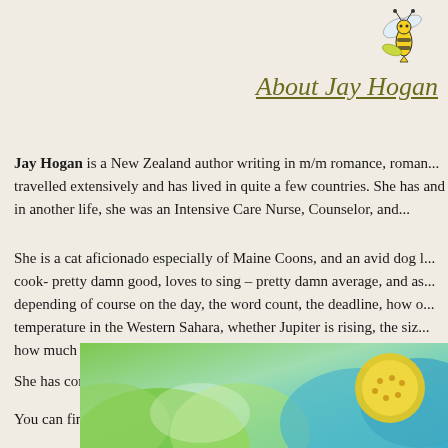[Figure (illustration): Small cartoon bee illustration in top right corner]
About Jay Hogan
Jay Hogan is a New Zealand author writing in m/m romance, roman... travelled extensively and has lived in quite a few countries. She has and in another life, she was an Intensive Care Nurse, Counselor, and...
She is a cat aficionado especially of Maine Coons, and an avid dog l... cook- pretty damn good, loves to sing – pretty damn average, and as... depending of course on the day, the word count, the deadline, how o... temperature in the Western Sahara, whether Jupiter is rising, the siz... how much coffee she's had.
She has complex boys telling stories in her head that demand attenti... go with them. Their journeys are never straightforward and even surp... out ahead of time but those pesky characters seem to have a mind o...
You can find Jay at: Facebook | Twitter | Email
[Figure (photo): Colorful flower photograph at the bottom of the page, showing green and blue petals with yellow center]